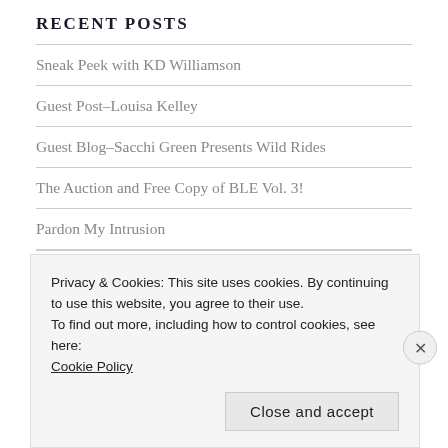RECENT POSTS
Sneak Peek with KD Williamson
Guest Post–Louisa Kelley
Guest Blog–Sacchi Green Presents Wild Rides
The Auction and Free Copy of BLE Vol. 3!
Pardon My Intrusion
ARCHIVES
Privacy & Cookies: This site uses cookies. By continuing to use this website, you agree to their use.
To find out more, including how to control cookies, see here: Cookie Policy
Close and accept